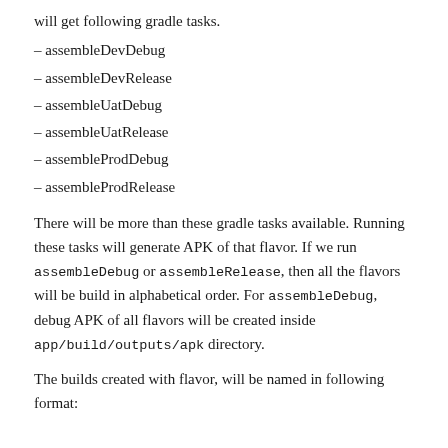will get following gradle tasks.
– assembleDevDebug
– assembleDevRelease
– assembleUatDebug
– assembleUatRelease
– assembleProdDebug
– assembleProdRelease
There will be more than these gradle tasks available. Running these tasks will generate APK of that flavor. If we run assembleDebug or assembleRelease, then all the flavors will be build in alphabetical order. For assembleDebug, debug APK of all flavors will be created inside app/build/outputs/apk directory.
The builds created with flavor, will be named in following format: